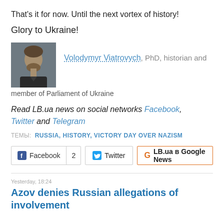That's it for now. Until the next vortex of history!
Glory to Ukraine!
Volodymyr Viatrovych, PhD, historian and member of Parliament of Ukraine
Read LB.ua news on social networks Facebook, Twitter and Telegram
ТЕМЫ: RUSSIA, HISTORY, VICTORY DAY OVER NAZISM
Facebook 2  Twitter  LB.ua в Google News
Yesterday, 18:24
Azov denies Russian allegations of involvement